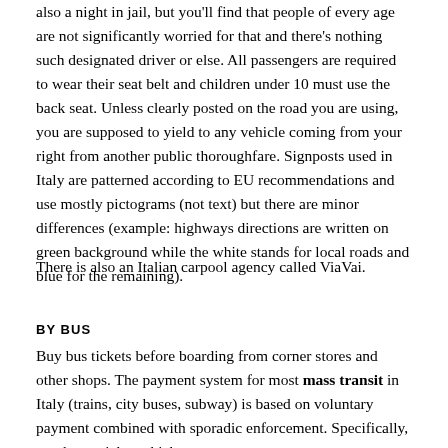also a night in jail, but you'll find that people of every age are not significantly worried for that and there's nothing such designated driver or else. All passengers are required to wear their seat belt and children under 10 must use the back seat. Unless clearly posted on the road you are using, you are supposed to yield to any vehicle coming from your right from another public thoroughfare. Signposts used in Italy are patterned according to EU recommendations and use mostly pictograms (not text) but there are minor differences (example: highways directions are written on green background while the white stands for local roads and blue for the remaining).
There is also an Italian carpool agency called ViaVai.
BY BUS
Buy bus tickets before boarding from corner stores and other shops. The payment system for most mass transit in Italy (trains, city buses, subway) is based on voluntary payment combined with sporadic enforcement. Specifically, you buy a ticket which